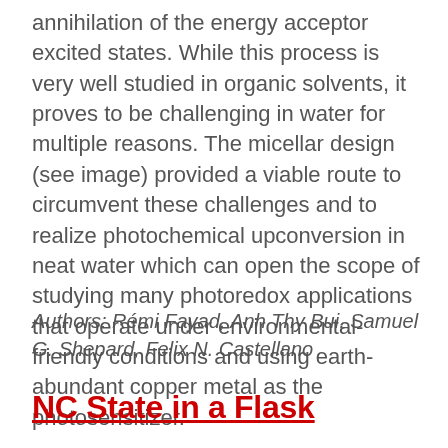annihilation of the energy acceptor excited states. While this process is very well studied in organic solvents, it proves to be challenging in water for multiple reasons. The micellar design (see image) provided a viable route to circumvent these challenges and to realize photochemical upconversion in neat water which can open the scope of studying many photoredox applications that operate under environmental-friendly conditions and using earth-abundant copper metal as the photosensitizer.
Authors: Rémi Fayad, Anh Thy Bui, Samuel G. Shepard, Felix N. Castellano
NC State in a Flask